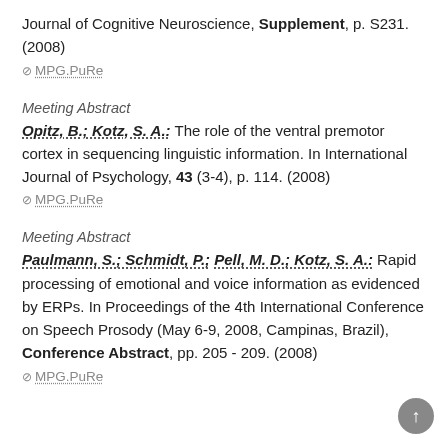Journal of Cognitive Neuroscience, Supplement, p. S231. (2008)
MPG.PuRe
Meeting Abstract
Opitz, B.; Kotz, S. A.: The role of the ventral premotor cortex in sequencing linguistic information. In International Journal of Psychology, 43 (3-4), p. 114. (2008)
MPG.PuRe
Meeting Abstract
Paulmann, S.; Schmidt, P.; Pell, M. D.; Kotz, S. A.: Rapid processing of emotional and voice information as evidenced by ERPs. In Proceedings of the 4th International Conference on Speech Prosody (May 6-9, 2008, Campinas, Brazil), Conference Abstract, pp. 205 - 209. (2008)
MPG.PuRe